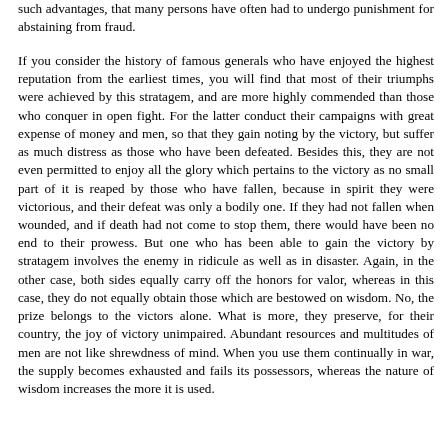such advantages, that many persons have often had to undergo punishment for abstaining from fraud.
If you consider the history of famous generals who have enjoyed the highest reputation from the earliest times, you will find that most of their triumphs were achieved by this stratagem, and are more highly commended than those who conquer in open fight. For the latter conduct their campaigns with great expense of money and men, so that they gain noting by the victory, but suffer as much distress as those who have been defeated. Besides this, they are not even permitted to enjoy all the glory which pertains to the victory as no small part of it is reaped by those who have fallen, because in spirit they were victorious, and their defeat was only a bodily one. If they had not fallen when wounded, and if death had not come to stop them, there would have been no end to their prowess. But one who has been able to gain the victory by stratagem involves the enemy in ridicule as well as in disaster. Again, in the other case, both sides equally carry off the honors for valor, whereas in this case, they do not equally obtain those which are bestowed on wisdom. No, the prize belongs to the victors alone. What is more, they preserve, for their country, the joy of victory unimpaired. Abundant resources and multitudes of men are not like shrewdness of mind. When you use them continually in war, the supply becomes exhausted and fails its possessors, whereas the nature of wisdom increases the more it is used.